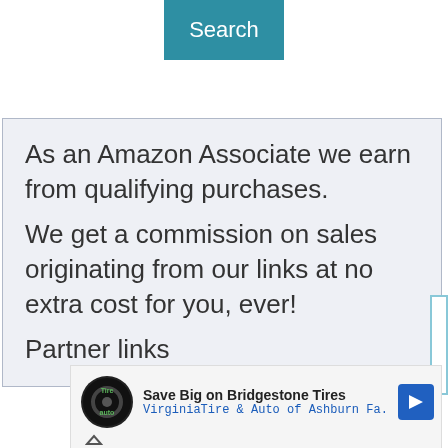Search
As an Amazon Associate we earn from qualifying purchases.
We get a commission on sales originating from our links at no extra cost for you, ever!
Partner links
[Figure (screenshot): Advertisement for Virginia Tire & Auto of Ashburn showing Bridgestone Tires promotion with circular logo, blue link text, and navigation arrow icon]